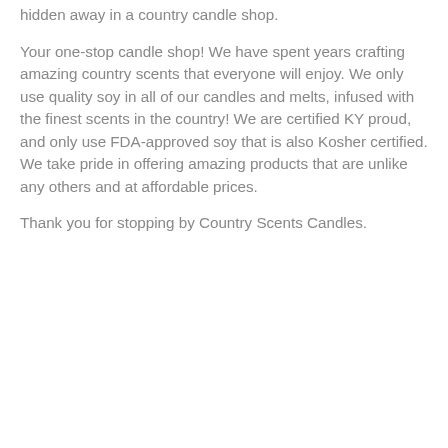hidden away in a country candle shop.
Your one-stop candle shop! We have spent years crafting amazing country scents that everyone will enjoy. We only use quality soy in all of our candles and melts, infused with the finest scents in the country! We are certified KY proud, and only use FDA-approved soy that is also Kosher certified. We take pride in offering amazing products that are unlike any others and at affordable prices.
Thank you for stopping by Country Scents Candles.